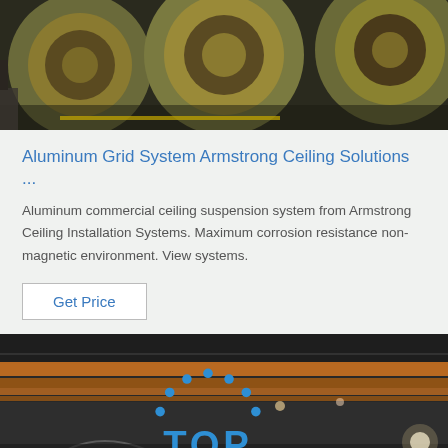[Figure (photo): Industrial metal coils (aluminum/steel rolls) stored in a warehouse, viewed from the side, greenish-yellow in color, on a dark concrete floor.]
Aluminum Grid System Armstrong Ceiling Solutions ...
Aluminum commercial ceiling suspension system from Armstrong Ceiling Installation Systems. Maximum corrosion resistance non-magnetic environment. View systems.
Get Price
[Figure (photo): Industrial warehouse interior showing overhead crane beams (yellow/orange) along the ceiling, with a 'TOP' badge logo in blue in the upper right corner.]